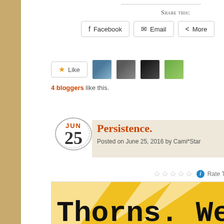Share this:
Facebook   Email   More
Like  [4 blogger avatars]
4 bloggers like this.
Persistence.
Posted on June 25, 2016 by Cami*Star
☆☆☆☆☆  Rate This
[Figure (photo): Yellow and white geometric diamond/triangle pattern background with bold typewriter-style text reading 'Thorns. We' and 'Unmanag' (truncated)]